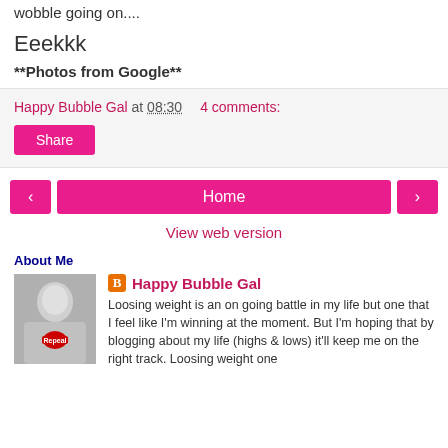wobble going on....
Eeekkk
**Photos from Google**
Happy Bubble Gal at 08:30   4 comments:
Share
‹   Home   ›
View web version
About Me
[Figure (photo): Black and white photo of a woman smiling, holding a red heart-shaped Repeal badge]
Happy Bubble Gal
Loosing weight is an on going battle in my life but one that I feel like I'm winning at the moment. But I'm hoping that by blogging about my life (highs & lows) it'll keep me on the right track. Loosing weight one